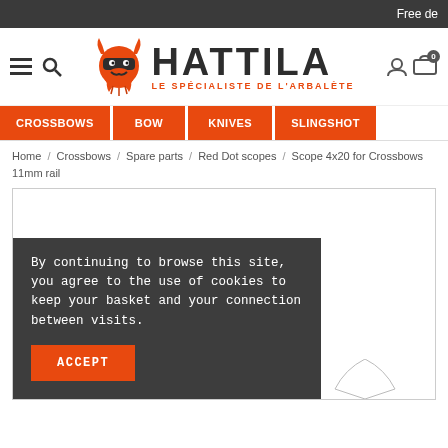Free de
[Figure (logo): Hattila logo with orange viking head icon, text HATTILA, subtitle LE SPÉCIALISTE DE L'ARBALÈTE]
CROSSBOWS / BOW / KNIVES / SLINGSHOT
Home / Crossbows / Spare parts / Red Dot scopes / Scope 4x20 for Crossbows 11mm rail
[Figure (photo): Product image area for Scope 4x20 for Crossbows 11mm rail, partially visible. Cookie consent overlay present.]
By continuing to browse this site, you agree to the use of cookies to keep your basket and your connection between visits.
ACCEPT